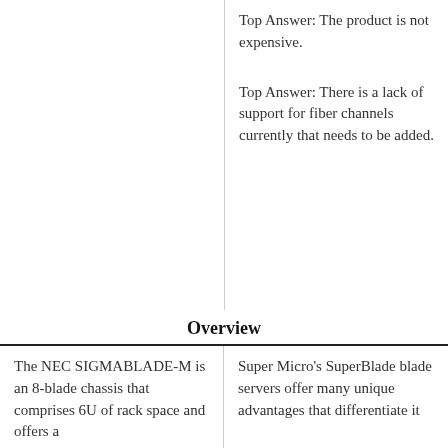Top Answer:  The product is not expensive.
Top Answer:  There is a lack of support for fiber channels currently that needs to be added.
Overview
The NEC SIGMABLADE-M is an 8-blade chassis that comprises 6U of rack space and offers a
Super Micro's SuperBlade blade servers offer many unique advantages that differentiate it